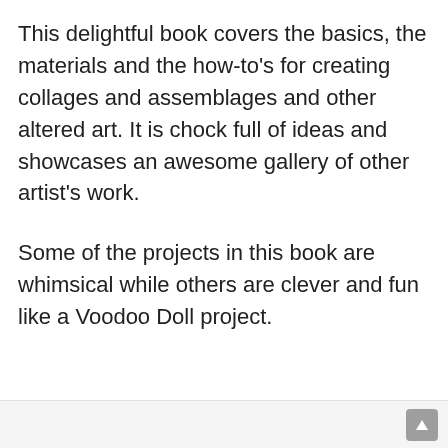This delightful book covers the basics, the materials and the how-to's for creating collages and assemblages and other altered art. It is chock full of ideas and showcases an awesome gallery of other artist's work.
Some of the projects in this book are whimsical while others are clever and fun like a Voodoo Doll project.